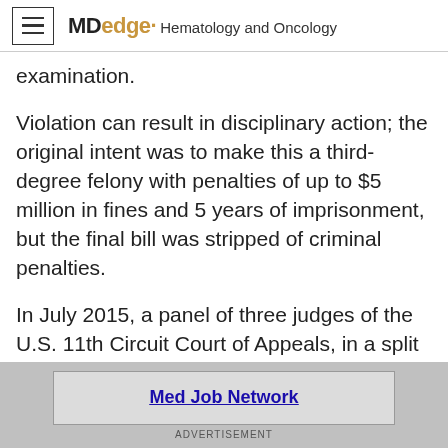MDedge Hematology and Oncology
examination.
Violation can result in disciplinary action; the original intent was to make this a third-degree felony with penalties of up to $5 million in fines and 5 years of imprisonment, but the final bill was stripped of criminal penalties.
In July 2015, a panel of three judges of the U.S. 11th Circuit Court of Appeals, in a split 2-1 decision, found that the inquiry, record-
[Figure (other): Advertisement banner: Med Job Network link in a bordered box on a grey background with ADVERTISEMENT label below]